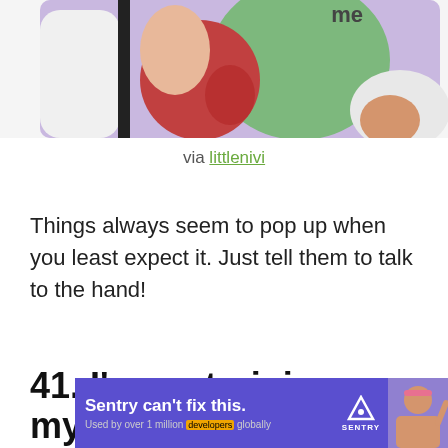[Figure (illustration): Cropped meme image showing cartoon figures with 'me' label on a green character, partial view of people in colorful clothing]
via littlenivi
Things always seem to pop up when you least expect it. Just tell them to talk to the hand!
41. I'm restraining myself.
[Figure (other): Sentry advertisement banner: 'Sentry can't fix this. Used by over 1 million developers globally' with person photo and Sentry logo]